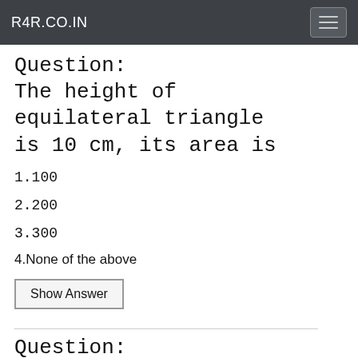R4R.CO.IN
Question:
The height of equilateral triangle is 10 cm, its area is
1.100
2.200
3.300
4.None of the above
Show Answer
Question: